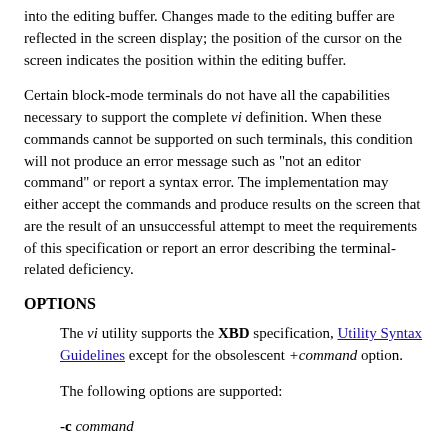into the editing buffer. Changes made to the editing buffer are reflected in the screen display; the position of the cursor on the screen indicates the position within the editing buffer.
Certain block-mode terminals do not have all the capabilities necessary to support the complete vi definition. When these commands cannot be supported on such terminals, this condition will not produce an error message such as "not an editor command" or report a syntax error. The implementation may either accept the commands and produce results on the screen that are the result of an unsuccessful attempt to meet the requirements of this specification or report an error describing the terminal-related deficiency.
OPTIONS
The vi utility supports the XBD specification, Utility Syntax Guidelines except for the obsolescent +command option.
The following options are supported:
-c command